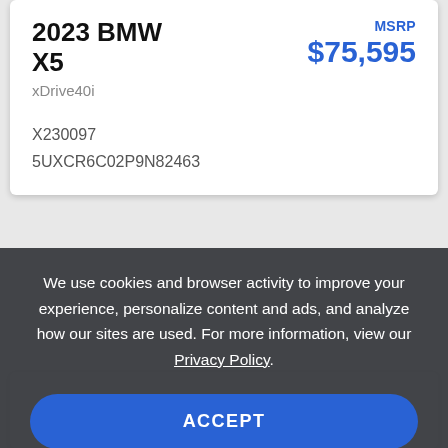2023 BMW X5
xDrive40i
MSRP $75,595
X230097
5UXCR6C02P9N82463
We use cookies and browser activity to improve your experience, personalize content and ads, and analyze how our sites are used. For more information, view our Privacy Policy.
ACCEPT